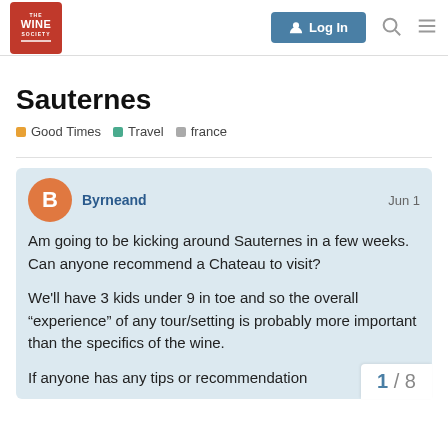The Wine Society — Log In
Sauternes
Good Times  Travel  france
Byrneand  Jun 1
Am going to be kicking around Sauternes in a few weeks. Can anyone recommend a Chateau to visit?

We'll have 3 kids under 9 in toe and so the overall "experience" of any tour/setting is probably more important than the specifics of the wine.

If anyone has any tips or recommendation
1 / 8